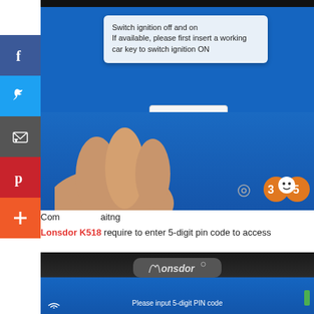[Figure (screenshot): Tablet/device screen showing a dialog: 'Switch ignition off and on. If available, please first insert a working car key to switch ignition ON' with an OK button. A hand is pressing the screen. Social share icons (Facebook, Twitter, Email, Pinterest, Plus) overlay the left side. A 305 badge is in bottom right.]
Com...aitng
Lonsdor K518 require to enter 5-digit pin code to access
[Figure (photo): Lonsdor K518 device showing 'Please input 5-digit PIN code' on its blue screen, with the Lonsdor logo on the device body.]